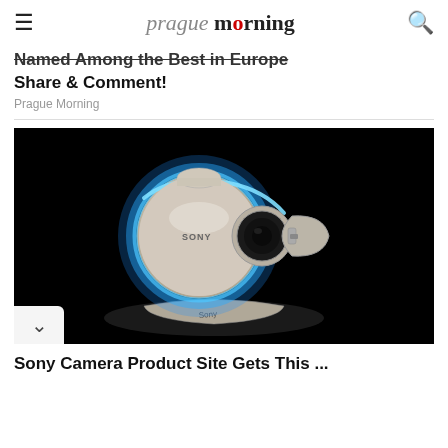prague morning
Named Among the Best in Europe — Share & Comment!
Prague Morning
[Figure (photo): A Sony branded camera or lens product with glowing blue light ring, on a black background]
(partial bottom title, cropped)